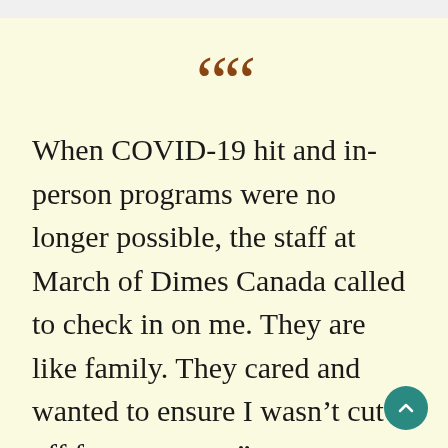““ (opening quote marks)
When COVID-19 hit and in-person programs were no longer possible, the staff at March of Dimes Canada called to check in on me. They are like family. They cared and wanted to ensure I wasn’t cut off from support.”
Christopher Doyle
54 years old at the time of stroke